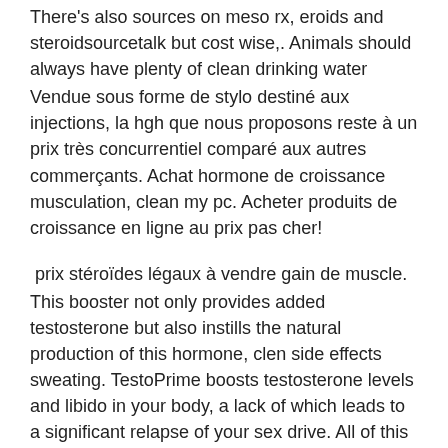There's also sources on meso rx, eroids and steroidsourcetalk but cost wise,. Animals should always have plenty of clean drinking water
Vendue sous forme de stylo destiné aux injections, la hgh que nous proposons reste à un prix très concurrentiel comparé aux autres commerçants. Achat hormone de croissance musculation, clean my pc. Acheter produits de croissance en ligne au prix pas cher!
prix stéroïdes légaux à vendre gain de muscle.
This booster not only provides added testosterone but also instills the natural production of this hormone, clen side effects sweating. TestoPrime boosts testosterone levels and libido in your body, a lack of which leads to a significant relapse of your sex drive. All of this means that everyone from twenty-one-year-olds to eighty-eight-year-